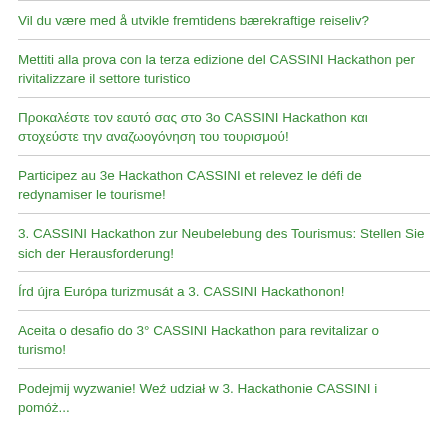Vil du være med å utvikle fremtidens bærekraftige reiseliv?
Mettiti alla prova con la terza edizione del CASSINI Hackathon per rivitalizzare il settore turistico
Προκαλέστε τον εαυτό σας στο 3o CASSINI Hackathon και στοχεύστε την αναζωογόνηση του τουρισμού!
Participez au 3e Hackathon CASSINI et relevez le défi de redynamiser le tourisme!
3. CASSINI Hackathon zur Neubelebung des Tourismus: Stellen Sie sich der Herausforderung!
Írd újra Európa turizmusát a 3. CASSINI Hackathonon!
Aceita o desafio do 3° CASSINI Hackathon para revitalizar o turismo!
Podejmij wyzwanie! Weź udział w 3. Hackathonie CASSINI i pomóż...